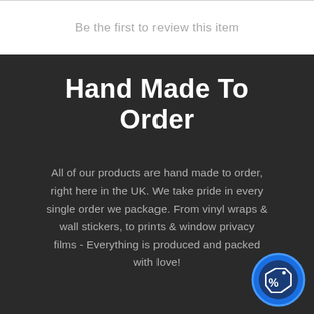Be the first to review this item
Hand Made To Order
All of our products are hand made to order, right here in the UK. We take pride in every single order we package. From vinyl wraps & wall stickers, to prints & window privacy films - Everything is produced and packed with love!
[Figure (illustration): Blue circular badge/icon with a price tag and percentage symbol, indicating a discount or offer.]